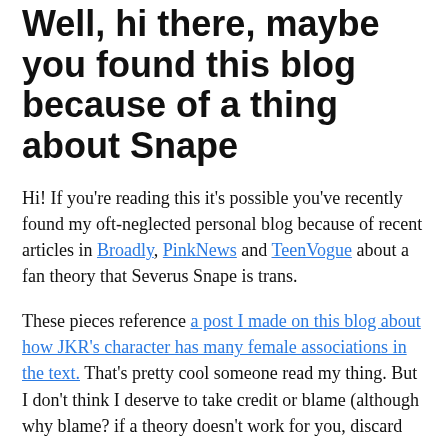Well, hi there, maybe you found this blog because of a thing about Snape
Hi! If you're reading this it's possible you've recently found my oft-neglected personal blog because of recent articles in Broadly, PinkNews and TeenVogue about a fan theory that Severus Snape is trans.
These pieces reference a post I made on this blog about how JKR's character has many female associations in the text. That's pretty cool someone read my thing. But I don't think I deserve to take credit or blame (although why blame? if a theory doesn't work for you, discard